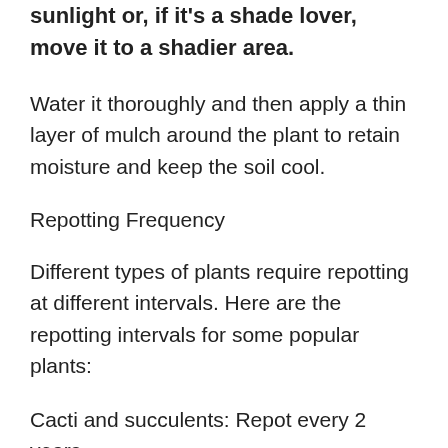sunlight or, if it's a shade lover, move it to a shadier area.
Water it thoroughly and then apply a thin layer of mulch around the plant to retain moisture and keep the soil cool.
Repotting Frequency
Different types of plants require repotting at different intervals. Here are the repotting intervals for some popular plants:
Cacti and succulents: Repot every 2 years
Philodendron: Repot every 2 years